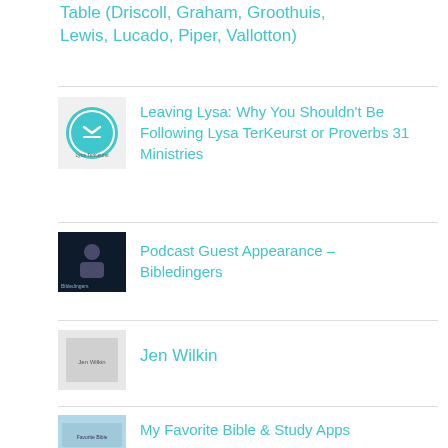Table (Driscoll, Graham, Groothuis, Lewis, Lucado, Piper, Vallotton)
Leaving Lysa: Why You Shouldn't Be Following Lysa TerKeurst or Proverbs 31 Ministries
Podcast Guest Appearance – Bibledingers
Jen Wilkin
My Favorite Bible & Study Apps